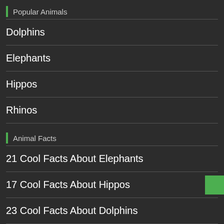Popular Animals
Dolphins
Elephants
Hippos
Rhinos
Animal Facts
21 Cool Facts About Elephants
17 Cool Facts About Hippos
23 Cool Facts About Dolphins
11 Must-Know Facts About The Rhinocerous